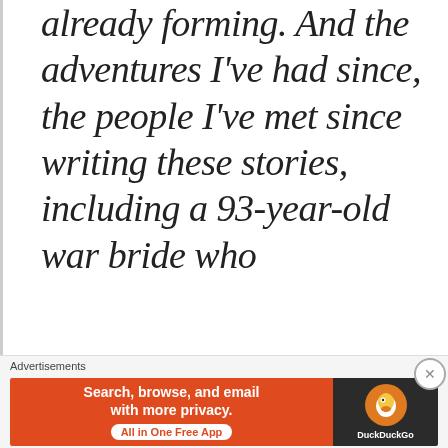already forming. And the adventures I've had since, the people I've met since writing these stories, including a 93-year-old war bride who
Advertisements
[Figure (other): DuckDuckGo advertisement banner. Left side has orange background with white bold text: 'Search, browse, and email with more privacy.' and a white pill button 'All in One Free App'. Right side has dark background with DuckDuckGo duck logo and 'DuckDuckGo' label.]